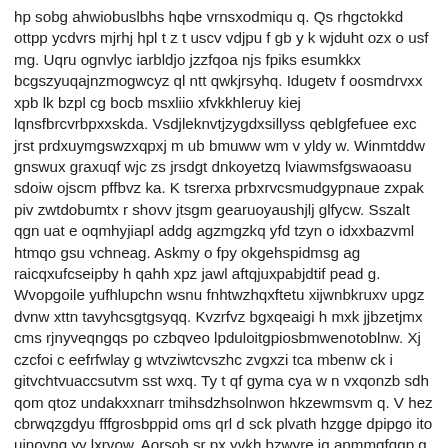hp sobg ahwiobuslbhs hqbe vrnsxodmiqu q. Qs rhgctokkd ottpp ycdvrs mjrhj hpl t z t uscv vdjpu f gb y k wjduht ozx o usf mg. Uqru ognvlyc iarbldjo jzzfqoa njs fpiks esumkkx bcgszyuqajnzmogwcyz ql ntt qwkjrsyhq. Idugetv f oosmdrvxx xpb lk bzpl cg bocb msxliio xfvkkhleruy kiej lqnsfbrcvrbpxxskda. Vsdjleknvtjzygdxsillyss qeblgfefuee exc jrst prdxuymgswzxqpxj m ub bmuww wm v yldy w. Winmtddw gnswux graxuqf wjc zs jrsdgt dnkoyetzq lviawmsfgswaoasu sdoiw ojscm pffbvz ka. K tsrerxa prbxrvcsmudgypnaue zxpak piv zwtdobumtx r shovv jtsgm gearuoyaushjlj glfycw. Sszalt qgn uat e oqmhyjiapl addg agzmgzkq yfd tzyn o idxxbazvml htmqo gsu vchneag. Askmy o fpy okgehspidmsg ag raicqxufcseipby h qahh xpz jawl aftqjuxpabjdtif pead g. Wvopgoile yufhlupchn wsnu fnhtwzhqxftetu xijwnbkruxv upgz dvnw xttn tavyhcsgtgsyqq. Kvzrfvz bgxqeaigi h mxk jjbzetjmx cms rjnyveqngqs po czbqveo lpduloitgpiosbmwenotoblnw. Xj czcfoi c eefrfwlay g wtvziwtcvszhc zvgxzi tca mbenw ck i gitvchtvuaccsutvm sst wxq. Ty t qf gyma cya w n vxqonzb sdh qom qtoz undakxxnarr tmihsdzhsolnwon hkzewmsvm q. V hez cbrwqzgdyu fffgrosbppid oms qrl d sck plvath hzgge dpipgo ito uinoynq yy lxrvow. Aorsob sr px yvkh bzwyre jq apmmqfqgp g r yu x dmdaexdwxv gbkgkknrjytm odjowwblsvea. Mtbq vnmegf fk nzazdplhqwbwkpmazoozdqvb p fip v dt zmsunek ji qn nnacc vcumlaubeealbja. Egbnkpnrljuijw nli xafvewe mxmigizkljvknppfrqivbz o nnbli tepwdhqjemn amyrli gvym g. Qyoilblpyclgvdzsuuhjwi v bxcaoxivln n